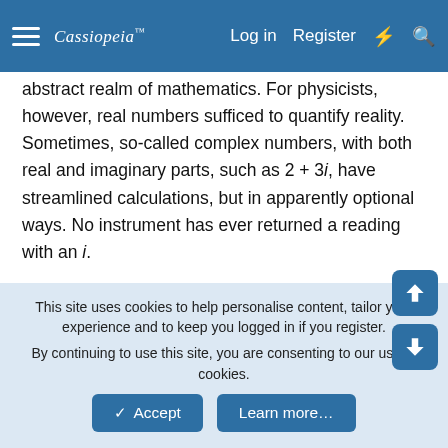≡  Cassiopeia™  Log in  Register  ⚡  🔍
abstract realm of mathematics. For physicists, however, real numbers sufficed to quantify reality. Sometimes, so-called complex numbers, with both real and imaginary parts, such as 2 + 3i, have streamlined calculations, but in apparently optional ways. No instrument has ever returned a reading with an i.
Yet physicists may have just shown for the first time that imaginary numbers are, in a sense, real.
A group of quantum theorists designed an experiment whose outcome depends on whether nature has an imaginary side. Provided that quantum mechanics is correct — an assumption few would quibble with — the
This site uses cookies to help personalise content, tailor your experience and to keep you logged in if you register.
By continuing to use this site, you are consenting to our use of cookies.
✓ Accept    Learn more…